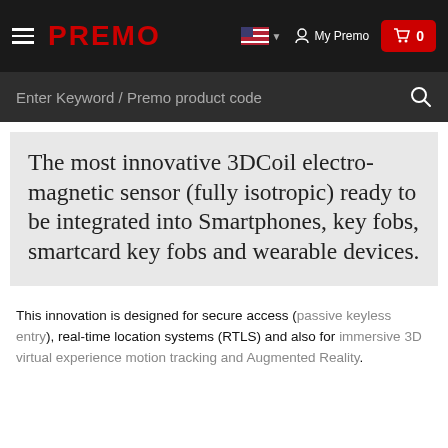PREMO | My Premo | Cart: 0
Enter Keyword / Premo product code
The most innovative 3DCoil electro-magnetic sensor (fully isotropic) ready to be integrated into Smartphones, key fobs, smartcard key fobs and wearable devices.
This innovation is designed for secure access (passive keyless entry), real-time location systems (RTLS) and also for immersive 3D virtual experience motion tracking and Augmented Reality.